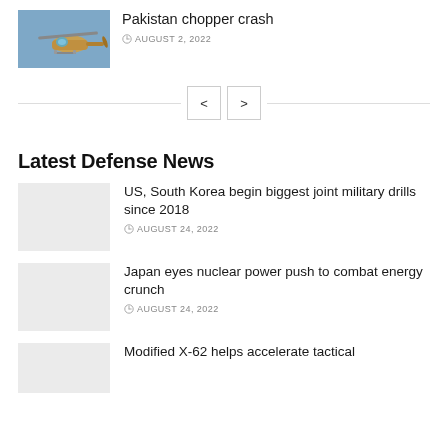[Figure (photo): Helicopter in flight against blue sky]
Pakistan chopper crash
AUGUST 2, 2022
< >
Latest Defense News
[Figure (photo): Placeholder thumbnail for US South Korea article]
US, South Korea begin biggest joint military drills since 2018
AUGUST 24, 2022
[Figure (photo): Placeholder thumbnail for Japan nuclear article]
Japan eyes nuclear power push to combat energy crunch
AUGUST 24, 2022
[Figure (photo): Placeholder thumbnail for X-62 article]
Modified X-62 helps accelerate tactical